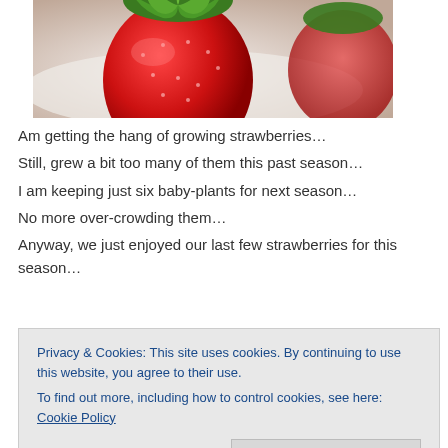[Figure (photo): Close-up photo of a red strawberry with green leaves on a white plate, slightly blurred background]
Am getting the hang of growing strawberries…
Still, grew a bit too many of them this past season…
I am keeping just six baby-plants for next season…
No more over-crowding them…
Anyway, we just enjoyed our last few strawberries for this season…
Their flesh was firm, and their taste… should I say
Privacy & Cookies: This site uses cookies. By continuing to use this website, you agree to their use.
To find out more, including how to control cookies, see here: Cookie Policy
[Figure (photo): Partial photo of strawberry plants with green leaves at the bottom of the page]